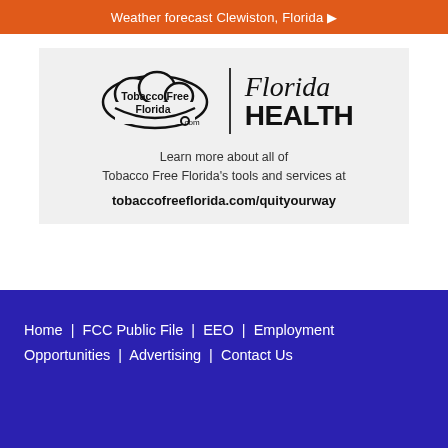Weather forecast Clewiston, Florida ▶
[Figure (logo): Tobacco Free Florida .com and Florida HEALTH logos side by side on a light gray background, with text: Learn more about all of Tobacco Free Florida's tools and services at tobaccofreeflorida.com/quityourway]
Home | FCC Public File | EEO | Employment Opportunities | Advertising | Contact Us